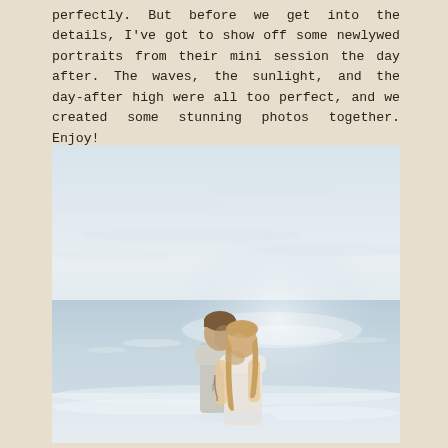perfectly. But before we get into the details, I've got to show off some newlywed portraits from their mini session the day after. The waves, the sunlight, and the day-after high were all too perfect, and we created some stunning photos together. Enjoy!
[Figure (photo): A couple kissing on a beach. The man and woman stand close together near the ocean shoreline, with bright overcast sky and sparkling water behind them. The woman has long hair and a tattoo visible on her arm. Both are dressed in light/white clothing.]